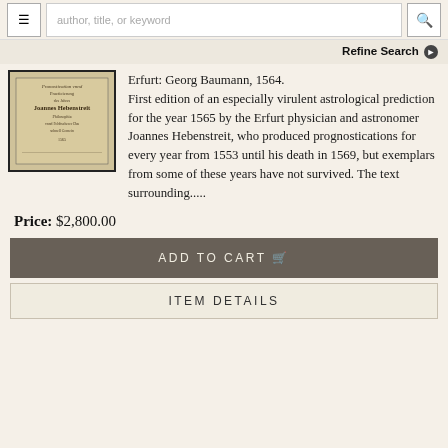≡  author, title, or keyword  🔍
Refine Search ❯
[Figure (photo): Photograph of an old book cover with ornate Gothic/blackletter German text on aged paper]
Erfurt: Georg Baumann, 1564. First edition of an especially virulent astrological prediction for the year 1565 by the Erfurt physician and astronomer Joannes Hebenstreit, who produced prognostications for every year from 1553 until his death in 1569, but exemplars from some of these years have not survived. The text surrounding.....
Price: $2,800.00
ADD TO CART 🛒
ITEM DETAILS